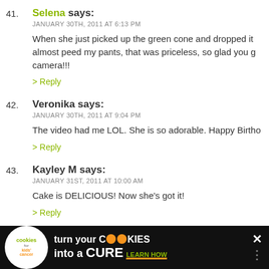41. Selena says: JANUARY 30TH, 2011 AT 6:13 PM — When she just picked up the green cone and dropped it almost peed my pants, that was priceless, so glad you g camera!!! > Reply
42. Veronika says: JANUARY 30TH, 2011 AT 9:04 PM — The video had me LOL. She is so adorable. Happy Birtho > Reply
43. Kayley M says: JANUARY 31ST, 2011 AT 10:00 AM — Cake is DELICIOUS! Now she's got it! > Reply
44. Jess says:
[Figure (screenshot): Advertisement banner for cookies for kids cancer: turn your cookies into a cure, learn how]